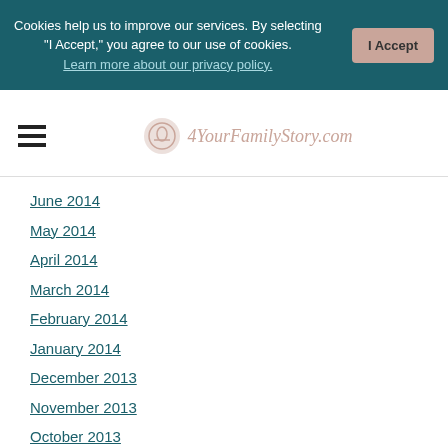Cookies help us to improve our services. By selecting "I Accept," you agree to our use of cookies. Learn more about our privacy policy.
[Figure (logo): 4YourFamilyStory.com logo with circular icon and italic script text]
June 2014
May 2014
April 2014
March 2014
February 2014
January 2014
December 2013
November 2013
October 2013
September 2013
August 2013
July 2013
June 2013
May 2013
April 2013